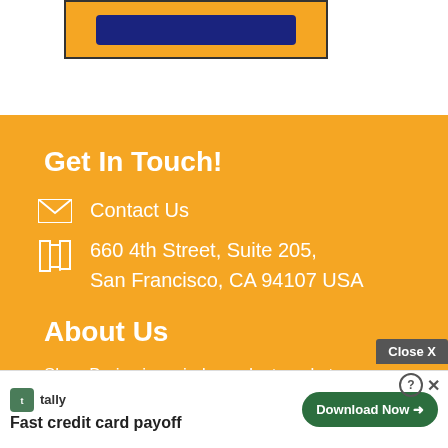[Figure (other): Yellow ad banner with dark navy button at top of page]
Get In Touch!
Contact Us
660 4th Street, Suite 205,
San Francisco, CA 94107 USA
About Us
SharpBrains is an independent market research firm tracking health and performance app... and ma...ce
[Figure (other): Tally ad overlay: Fast credit card payoff — Download Now button, with Close X and help icon]